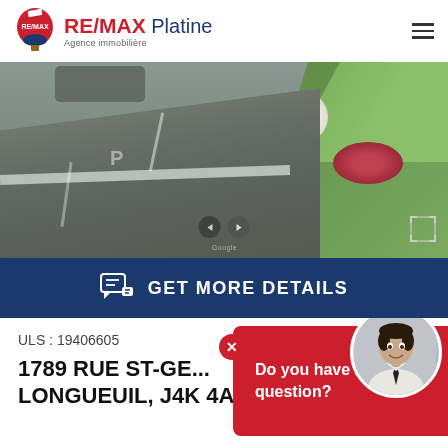RE/MAX Platine — Agence immobilière
[Figure (photo): Street view photo of a driveway/parking area with garden and flowers visible on the right, navigation arrows and fullscreen button overlaid]
GET MORE DETAILS
ULS : 19406605
1789 RUE ST-GE... LONGUEUIL, J4K 4A5
Do you have a question?